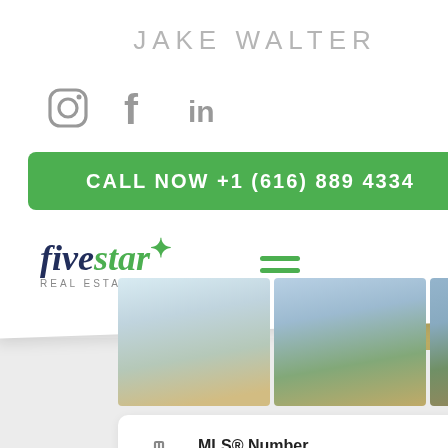JAKE WALTER
[Figure (logo): Social media icons: Instagram, Facebook, LinkedIn]
CALL NOW +1 (616) 889 4334
[Figure (logo): Five Star Real Estate Leaders logo]
[Figure (photo): Three house photos in a row]
MLS® Number
21094867
Property Type